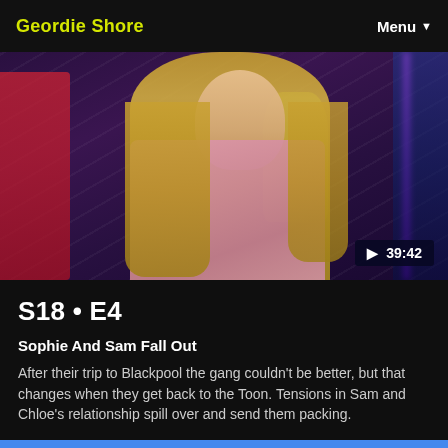Geordie Shore  Menu
[Figure (photo): Video thumbnail showing a blonde woman in a pink jacket, with a dark background featuring purple and blue lighting. Duration badge shows ▶ 39:42 in the bottom right corner.]
S18 • E4
Sophie And Sam Fall Out
After their trip to Blackpool the gang couldn't be better, but that changes when they get back to the Toon. Tensions in Sam and Chloe's relationship spill over and send them packing.
08/11/2018